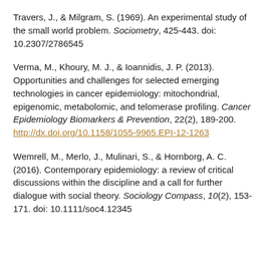Travers, J., & Milgram, S. (1969). An experimental study of the small world problem. Sociometry, 425-443. doi: 10.2307/2786545
Verma, M., Khoury, M. J., & Ioannidis, J. P. (2013). Opportunities and challenges for selected emerging technologies in cancer epidemiology: mitochondrial, epigenomic, metabolomic, and telomerase profiling. Cancer Epidemiology Biomarkers & Prevention, 22(2), 189-200. http://dx.doi.org/10.1158/1055-9965.EPI-12-1263
Wemrell, M., Merlo, J., Mulinari, S., & Hornborg, A. C. (2016). Contemporary epidemiology: a review of critical discussions within the discipline and a call for further dialogue with social theory. Sociology Compass, 10(2), 153-171. doi: 10.1111/soc4.12345